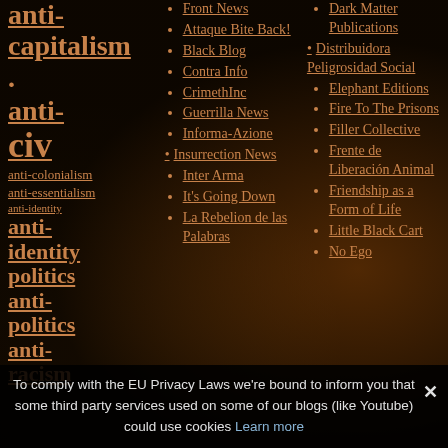anti-capitalism.
anti-civ
anti-colonialism
anti-essentialism
anti-identity
anti-identity politics
anti-politics
anti-racism
anti-sexism
Front News
Attaque Bite Back!
Black Blog
Contra Info
CrimethInc
Guerrilla News
Informa-Azione
Insurrection News
Inter Arma
It's Going Down
La Rebelion de las Palabras
Dark Matter Publications
Distribuidora Peligrosidad Social
Elephant Editions
Fire To The Prisons
Filler Collective
Frente de Liberación Animal
Friendship as a Form of Life
Little Black Cart
No Ego
To comply with the EU Privacy Laws we're bound to inform you that some third party services used on some of our blogs (like Youtube) could use cookies Learn more